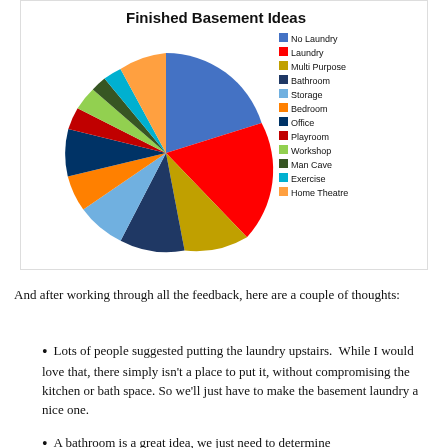[Figure (pie-chart): Finished Basement Ideas]
And after working through all the feedback, here are a couple of thoughts:
Lots of people suggested putting the laundry upstairs.  While I would love that, there simply isn't a place to put it, without compromising the kitchen or bath space. So we'll just have to make the basement laundry a nice one.
A bathroom is a great idea, we just need to determine